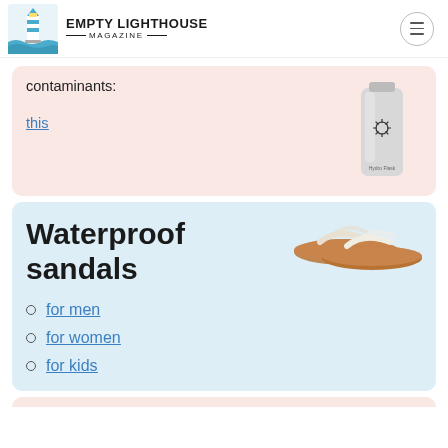EMPTY LIGHTHOUSE MAGAZINE
contaminants:
this
[Figure (photo): White Hydro Flask water bottle standing upright]
Waterproof sandals
[Figure (photo): A pair of brown and white flip-flop sandals]
for men
for women
for kids